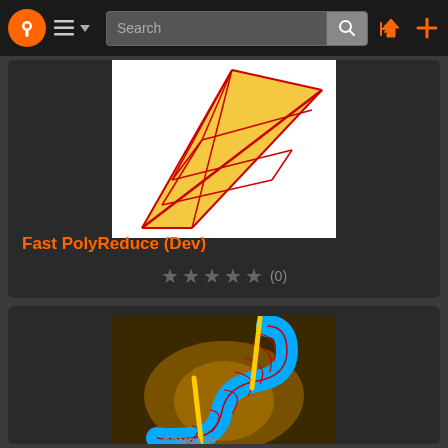Navigation bar with logo, menu, search, and action icons
[Figure (screenshot): Fast PolyReduce (Dev) plugin thumbnail showing a triangulated polygon mesh shape in red and orange on white background]
Fast PolyReduce (Dev)
★★★★★ (0)
[Figure (screenshot): Second plugin thumbnail showing a blue S-shaped tubular mesh with red grid lines and yellow poles on dark background with a company logo]